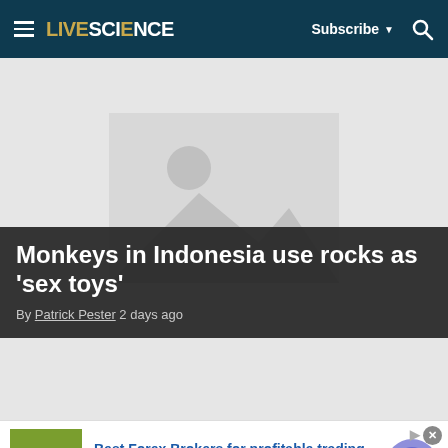LIVESCIENCE — Subscribe — Search
[Figure (photo): Placeholder image area for article about monkeys in Indonesia]
Monkeys in Indonesia use rocks as 'sex toys'
By Patrick Pester 2 days ago
[Figure (photo): Second article placeholder image area]
Best Forex Brokers for profitable trading
Open Forex Account, receive Bonus and start earning Now
forex-ratings.com